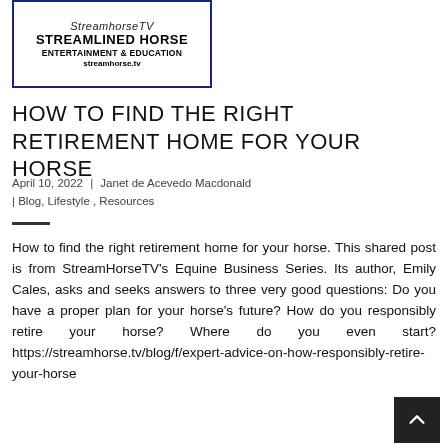[Figure (logo): StreamHorseTV logo with text: STREAMLINED HORSE ENTERTAINMENT & EDUCATION, streamhorse.tv, inside a dark blue border rectangle]
HOW TO FIND THE RIGHT RETIREMENT HOME FOR YOUR HORSE
April 10, 2022  |  Janet de Acevedo Macdonald
| Blog, Lifestyle, Resources
How to find the right retirement home for your horse. This shared post is from StreamHorseTV's Equine Business Series. Its author, Emily Cales, asks and seeks answers to three very good questions: Do you have a proper plan for your horse's future? How do you responsibly retire your horse? Where do you even start? https://streamhorse.tv/blog/f/expert-advice-on-how-responsibly-retire-your-horse